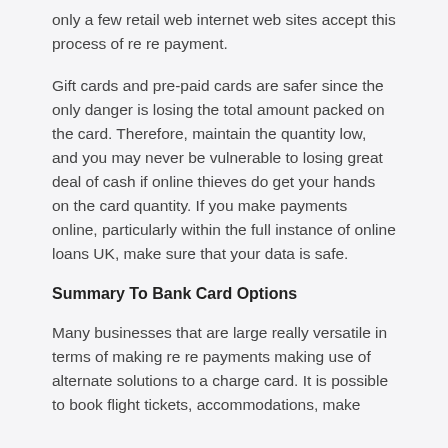only a few retail web internet web sites accept this process of re re payment.
Gift cards and pre-paid cards are safer since the only danger is losing the total amount packed on the card. Therefore, maintain the quantity low, and you may never be vulnerable to losing great deal of cash if online thieves do get your hands on the card quantity. If you make payments online, particularly within the full instance of online loans UK, make sure that your data is safe.
Summary To Bank Card Options
Many businesses that are large really versatile in terms of making re re payments making use of alternate solutions to a charge card. It is possible to book flight tickets, accommodations, make